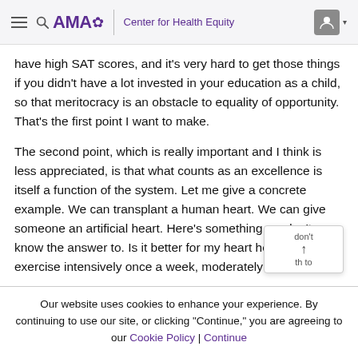AMA Center for Health Equity
have high SAT scores, and it's very hard to get those things if you didn't have a lot invested in your education as a child, so that meritocracy is an obstacle to equality of opportunity. That's the first point I want to make.
The second point, which is really important and I think is less appreciated, is that what counts as an excellence is itself a function of the system. Let me give a concrete example. We can transplant a human heart. We can give someone an artificial heart. Here's something we don't know the answer to. Is it better for my heart health to exercise intensively once a week, moderately three
Our website uses cookies to enhance your experience. By continuing to use our site, or clicking "Continue," you are agreeing to our Cookie Policy | Continue
that question because we have not invested enough in